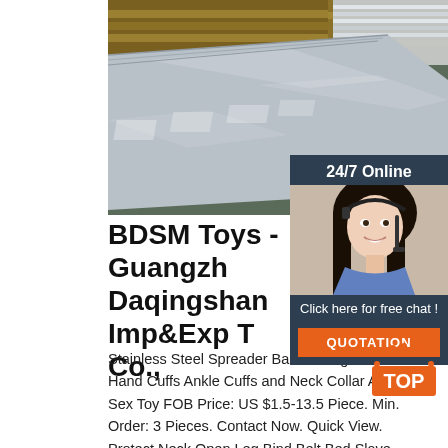[Figure (photo): Stacked stainless steel sheets on wooden pallets in a warehouse/factory setting, viewed at an angle showing reflective metallic surfaces.]
[Figure (infographic): 24/7 Online chat widget showing a woman with headset, 'Click here for free chat!' text, and an orange QUOTATION button.]
BDSM Toys - Guangzh Daqingshan Imp&Exp T Co.,
Stainless Steel Spreader Bar Bondage with Hand Cuffs Ankle Cuffs and Neck Collar Adult Sex Toy FOB Price: US $1.5-13.5 Piece. Min. Order: 3 Pieces. Contact Now. Quick View. Protect Neck Open Leg Bind Belt Bed Slave Restraints Handcuffs Kit Sex Bondage Toys Adult Products
[Figure (logo): Orange and dark TOP badge/logo with dotted arc above the letters TOP]